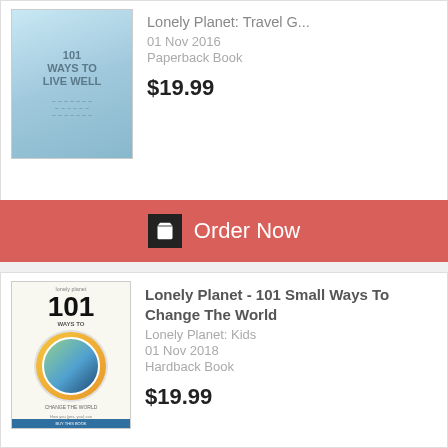[Figure (illustration): Book cover: 101 Ways to Live Well, light blue cover with text]
Lonely Planet: Travel G...
01 Nov 2016
Paperback Book
$19.99
Order Now
[Figure (illustration): Book cover: Lonely Planet - 101 Small Ways To Change The World, illustrated cover with globe]
Lonely Planet - 101 Small Ways To Change The World
Lonely Planet: Kids
01 Nov 2018
Hardback Book
$19.99